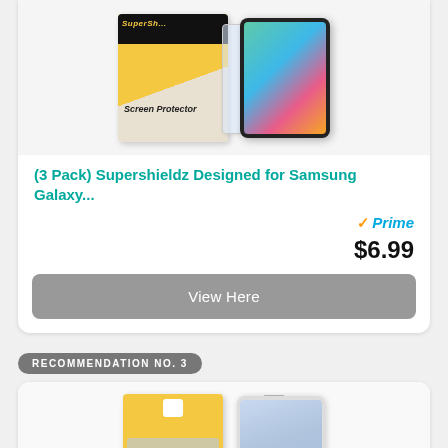[Figure (photo): Product photo of Supershieldz screen protector pack and Samsung Galaxy tablet]
(3 Pack) Supershieldz Designed for Samsung Galaxy...
[Figure (logo): Amazon Prime checkmark and Prime logo]
$6.99
View Here
RECOMMENDATION NO. 3
[Figure (photo): Product photo of second screen protector pack and Samsung Galaxy tablet]